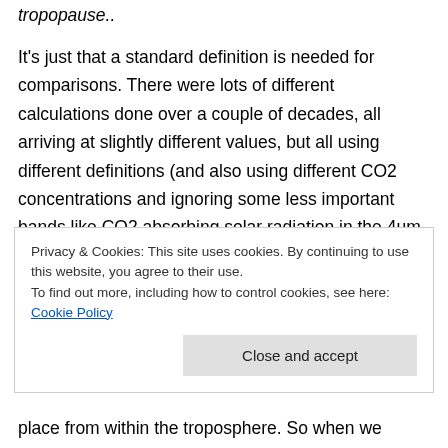tropopause..
It's just that a standard definition is needed for comparisons. There were lots of different calculations done over a couple of decades, all arriving at slightly different values, but all using different definitions (and also using different CO2 concentrations and ignoring some less important bands like CO2 absorbing solar radiation in the 4um band).
Privacy & Cookies: This site uses cookies. By continuing to use this website, you agree to their use.
To find out more, including how to control cookies, see here: Cookie Policy
Close and accept
place from within the troposphere. So when we